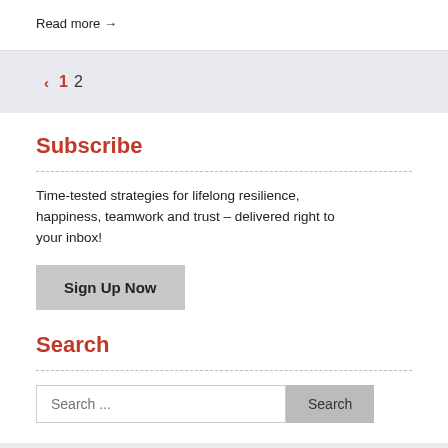Read more →
‹  1  2
Subscribe
Time-tested strategies for lifelong resilience, happiness, teamwork and trust – delivered right to your inbox!
Sign Up Now
Search
Search ... Search